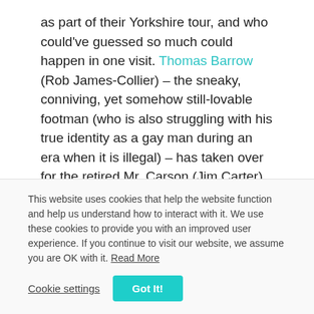as part of their Yorkshire tour, and who could've guessed so much could happen in one visit. Thomas Barrow (Rob James-Collier) – the sneaky, conniving, yet somehow still-lovable footman (who is also struggling with his true identity as a gay man during an era when it is illegal) – has taken over for the retired Mr. Carson (Jim Carter) as head of the house, but when preparations for the royal visitors aren't happening up to Lady Mary's standards, she brings
This website uses cookies that help the website function and help us understand how to interact with it. We use these cookies to provide you with an improved user experience. If you continue to visit our website, we assume you are OK with it. Read More
Cookie settings | Got It!